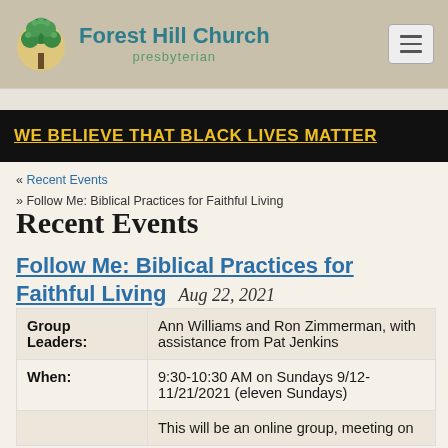[Figure (logo): Forest Hill Church Presbyterian logo with tree icon and church name]
WE BELIEVE THAT BLACK LIVES MATTER
« Recent Events
» Follow Me: Biblical Practices for Faithful Living
Recent Events
Follow Me: Biblical Practices for Faithful Living  Aug 22, 2021
| Field | Value |
| --- | --- |
| Group Leaders: | Ann Williams and Ron Zimmerman, with assistance from Pat Jenkins |
| When: | 9:30-10:30 AM on Sundays 9/12-11/21/2021 (eleven Sundays) |
|  | This will be an online group, meeting on |